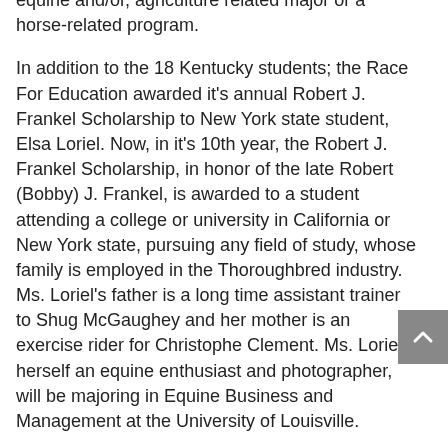equine and/or, agriculture related major or a horse-related program.
In addition to the 18 Kentucky students; the Race For Education awarded it's annual Robert J. Frankel Scholarship to New York state student, Elsa Loriel. Now, in it's 10th year, the Robert J. Frankel Scholarship, in honor of the late Robert (Bobby) J. Frankel, is awarded to a student attending a college or university in California or New York state, pursuing any field of study, whose family is employed in the Thoroughbred industry. Ms. Loriel's father is a long time assistant trainer to Shug McGaughey and her mother is an exercise rider for Christophe Clement. Ms. Loriel, herself an equine enthusiast and photographer, will be majoring in Equine Business and Management at the University of Louisville.
The KEEP Foundation and the Race For Education also awarded it's first annual RFE/KEEP Veterinary